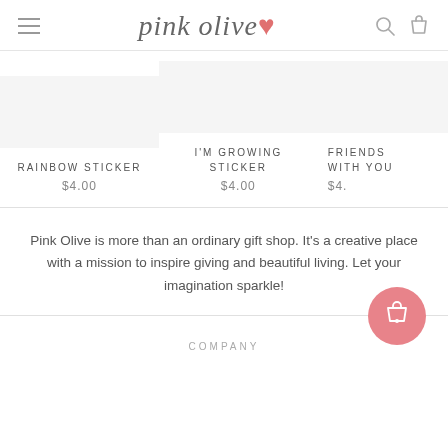pink olive
RAINBOW STICKER $4.00
I'M GROWING STICKER $4.00
FRIENDS WITH YOU $4.
Pink Olive is more than an ordinary gift shop. It's a creative place with a mission to inspire giving and beautiful living. Let your imagination sparkle!
COMPANY